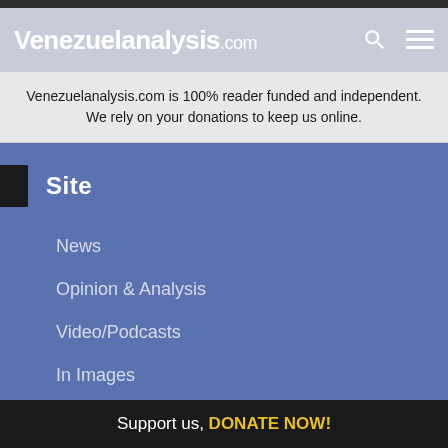Venezuelanalysis.com
Venezuelanalysis.com is 100% reader funded and independent. We rely on your donations to keep us online.
Site
News
Opinion & Analysis
Video/Podcasts
In Images
About Us
Support us, DONATE NOW!